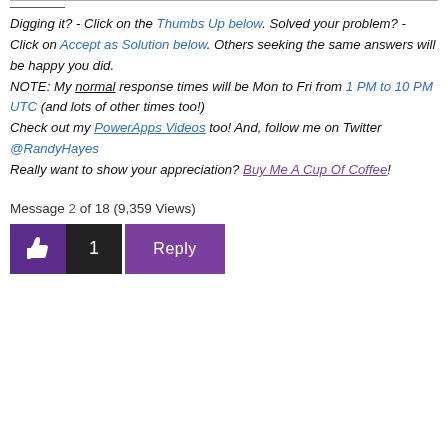Digging it? - Click on the Thumbs Up below. Solved your problem? - Click on Accept as Solution below. Others seeking the same answers will be happy you did. NOTE: My normal response times will be Mon to Fri from 1 PM to 10 PM UTC (and lots of other times too!) Check out my PowerApps Videos too! And, follow me on Twitter @RandyHayes Really want to show your appreciation? Buy Me A Cup Of Coffee!
Message 2 of 18 (9,359 Views)
[Figure (other): Thumbs up button, count showing 1, and Reply button]